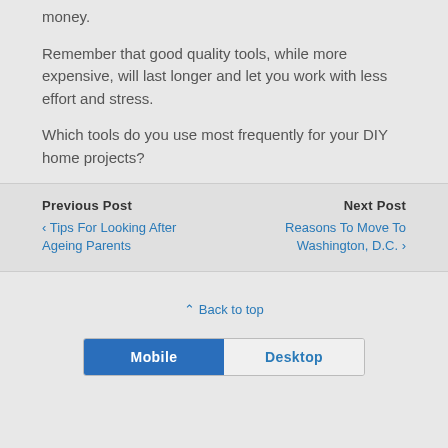money.
Remember that good quality tools, while more expensive, will last longer and let you work with less effort and stress.
Which tools do you use most frequently for your DIY home projects?
Previous Post
‹ Tips For Looking After Ageing Parents
Next Post
Reasons To Move To Washington, D.C. ›
⌃ Back to top
Mobile | Desktop